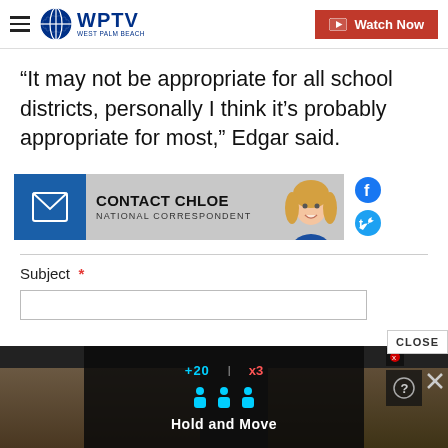WPTV West Palm Beach - Watch Now
“It may not be appropriate for all school districts, personally I think it’s probably appropriate for most,” Edgar said.
[Figure (infographic): Contact Chloe - National Correspondent banner with mail icon, photo of Chloe, and social media icons]
Subject *
[Figure (infographic): Advertisement overlay at bottom showing 'Hold and Move' text with close and help buttons]